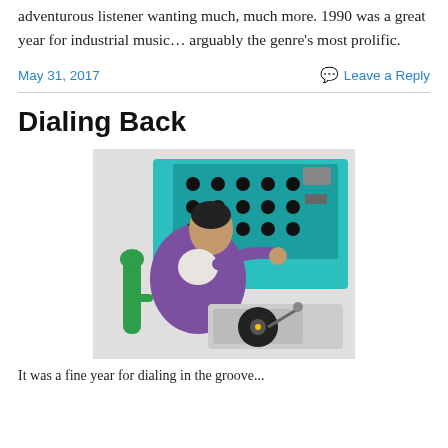adventurous listener wanting much, much more. 1990 was a great year for industrial music… arguably the genre's most prolific.
May 31, 2017
Leave a Reply
Dialing Back
[Figure (illustration): Colorful retro illustration of a man sitting at a mixing board/turntable, operating DJ equipment. Painted in bold pop-art style with teal, purple, and green colors.]
It was a fine year for dialing in the groove...